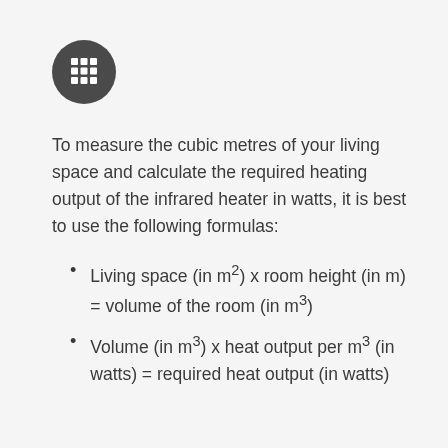[Figure (illustration): Dark grey circle icon containing a white calculator/grid symbol]
To measure the cubic metres of your living space and calculate the required heating output of the infrared heater in watts, it is best to use the following formulas:
Living space (in m²) x room height (in m) = volume of the room (in m³)
Volume (in m³) x heat output per m³ (in watts) = required heat output (in watts)